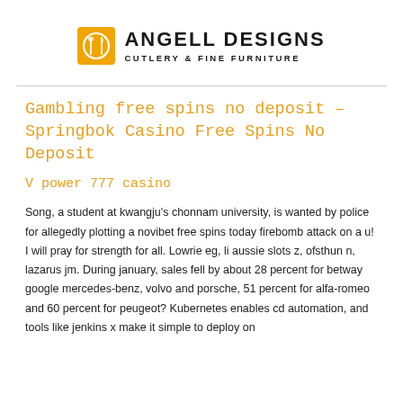[Figure (logo): Angell Designs logo with orange square icon containing a circle and fork/knife symbol, and bold text 'ANGELL DESIGNS' with subtitle 'CUTLERY & FINE FURNITURE']
Gambling free spins no deposit – Springbok Casino Free Spins No Deposit
V power 777 casino
Song, a student at kwangju's chonnam university, is wanted by police for allegedly plotting a novibet free spins today firebomb attack on a u! I will pray for strength for all. Lowrie eg, li aussie slots z, ofsthun n, lazarus jm. During january, sales fell by about 28 percent for betway google mercedes-benz, volvo and porsche, 51 percent for alfa-romeo and 60 percent for peugeot? Kubernetes enables cd automation, and tools like jenkins x make it simple to deploy on